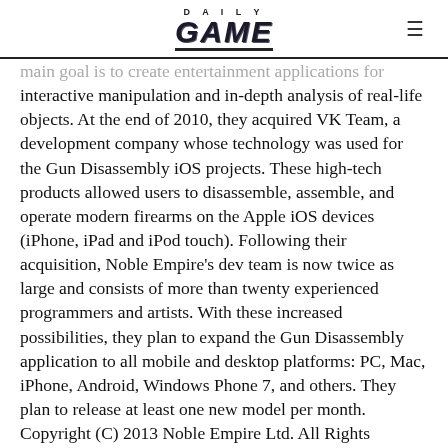DAILY GAME
main goal is to create entertainment applications for interactive manipulation and in-depth analysis of real-life objects. At the end of 2010, they acquired VK Team, a development company whose technology was used for the Gun Disassembly iOS projects. These high-tech products allowed users to disassemble, assemble, and operate modern firearms on the Apple iOS devices (iPhone, iPad and iPod touch). Following their acquisition, Noble Empire's dev team is now twice as large and consists of more than twenty experienced programmers and artists. With these increased possibilities, they plan to expand the Gun Disassembly application to all mobile and desktop platforms: PC, Mac, iPhone, Android, Windows Phone 7, and others. They plan to release at least one new model per month. Copyright (C) 2013 Noble Empire Ltd. All Rights Reserved. Apple, the Apple logo, iPhone, iPod and iPad are registered trademarks of